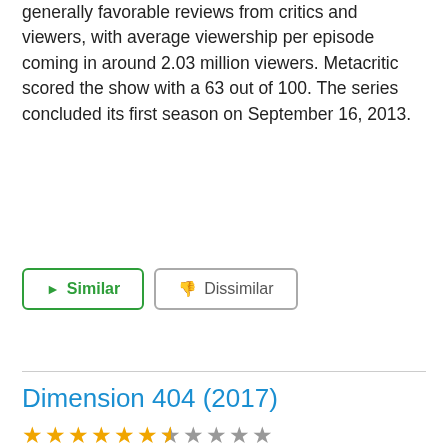generally favorable reviews from critics and viewers, with average viewership per episode coming in around 2.03 million viewers. Metacritic scored the show with a 63 out of 100. The series concluded its first season on September 16, 2013.
[Figure (other): Two buttons: 'Similar' with green border and play arrow icon, and 'Dissimilar' with gray border and thumbs-down icon]
Dimension 404 (2017)
[Figure (other): Star rating row: 6 filled gold stars, 1 half/partial gold-gray star, then 4 empty gray stars, total 11 stars shown]
[Figure (screenshot): Video thumbnail for Dimension 404 showing a dark sci-fi scene with floating screens displaying faces and the text 'DIMENSION 404' with a play button in the center]